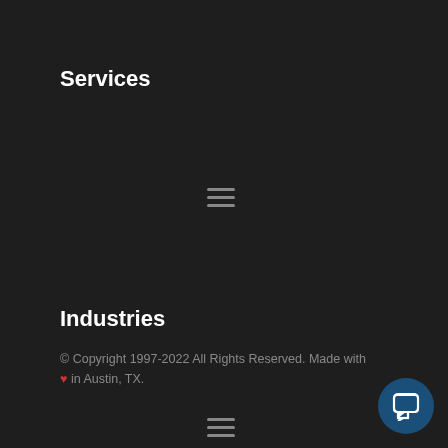Services
[Figure (other): Hamburger menu icon (three horizontal lines)]
Industries
[Figure (other): Hamburger menu icon (three horizontal lines)]
Support
[Figure (screenshot): Chat popup with avatar icon, close button, and message: Got any questions? I'm happy to help.]
© Copyright 1997-2022 All Rights Reserved. Made with ♥ in Austin, TX.
[Figure (other): Chat button (circular dark blue button with chat bubble icon)]